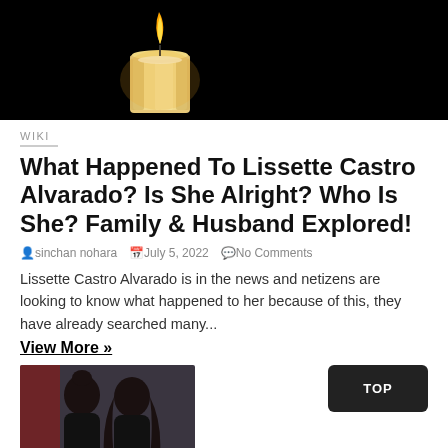[Figure (photo): A lit candle on a dark/black background, flame visible at top, candle body glowing warm orange/yellow, dark surroundings]
WIKI
What Happened To Lissette Castro Alvarado? Is She Alright? Who Is She? Family & Husband Explored!
sinchan nohara   July 5, 2022   No Comments
Lissette Castro Alvarado is in the news and netizens are looking to know what happened to her because of this, they have already searched many...
View More »
[Figure (photo): Two people posing together, one with hair tied up, one with long dark hair, against a dark background with red element]